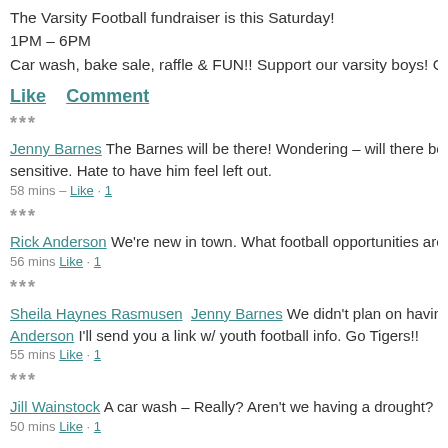The Varsity Football fundraiser is this Saturday!
1PM – 6PM
Car wash, bake sale, raffle & FUN!! Support our varsity boys! GO TIGER FOOTE
Like  Comment
***
Jenny Barnes The Barnes will be there! Wondering – will there be gluten free items? My son is sensitive. Hate to have him feel left out.
58 mins – Like · 1
***
Rick Anderson We're new in town. What football opportunities are there for my 9-
56 mins Like · 1
***
Sheila Haynes Rasmusen  Jenny Barnes We didn't plan on having gluten free items... Anderson I'll send you a link w/ youth football info. Go Tigers!!
55 mins Like · 1
***
Jill Wainstock A car wash – Really? Aren't we having a drought? Seems pretty irr
50 mins Like · 1